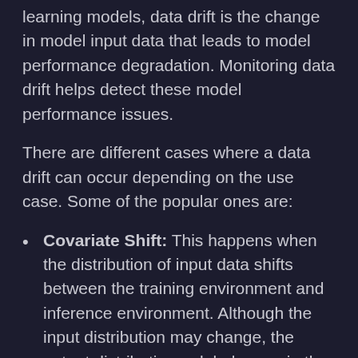learning models, data drift is the change in model input data that leads to model performance degradation. Monitoring data drift helps detect these model performance issues.
There are different cases where a data drift can occur depending on the use case. Some of the popular ones are:
Covariate Shift: This happens when the distribution of input data shifts between the training environment and inference environment. Although the input distribution may change, the output distribution or labels remain the same. Statisticians call this covariate shift because the problem arises